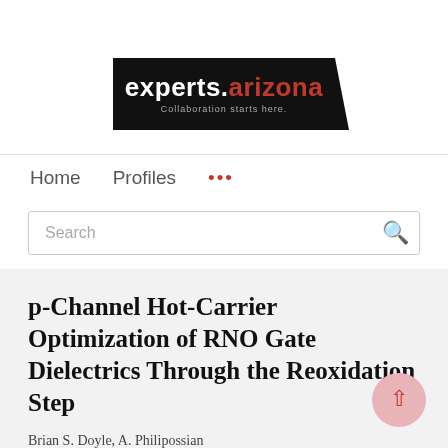[Figure (logo): experts.arizona logo — black rectangle with white bold text 'experts.' and red '.arizona', tagline 'Collaboration starts here.' in grey below]
Home   Profiles   ...
Search
p-Channel Hot-Carrier Optimization of RNO Gate Dielectrics Through the Reoxidation Step
Brian S. Doyle, A. Philipossian